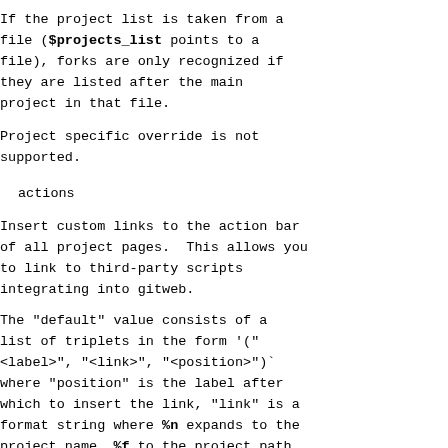If the project list is taken from a file ($projects_list points to a file), forks are only recognized if they are listed after the main project in that file.
Project specific override is not supported.
actions
Insert custom links to the action bar of all project pages. This allows you to link to third-party scripts integrating into gitweb.
The "default" value consists of a list of triplets in the form '("<label>", "<link>", "<position>")' where "position" is the label after which to insert the link, "link" is a format string where %n expands to the project name, %f to the project path